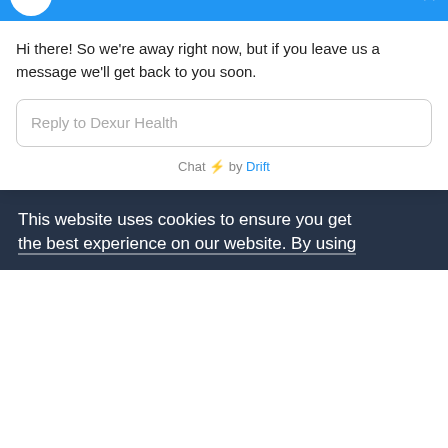DEXUR
Total payments
Group Practices: AURORA HEALTH CARE METRO INC, AURORA MEDICAL GROUP INC
Counties Served: Milwaukee, WI; Racine, WI; Waukesha, WI
This website uses cookies to ensure you get the best experience on our website. By using
Dexur Health from Dexur
Hi there! So we're away right now, but if you leave us a message we'll get back to you soon.
Reply to Dexur Health
Chat ⚡ by Drift